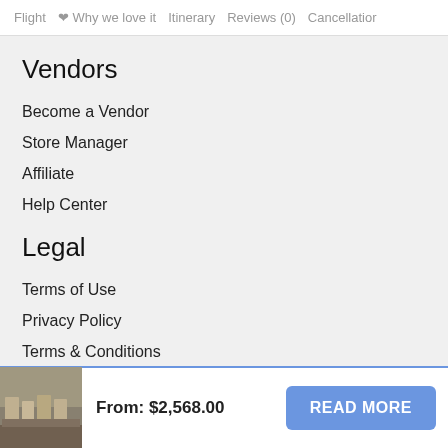Flight  ❤ Why we love it  Itinerary  Reviews (0)  Cancellation
Vendors
Become a Vendor
Store Manager
Affiliate
Help Center
Legal
Terms of Use
Privacy Policy
Terms & Conditions
Copyright Complaints
From: $2,568.00
READ MORE